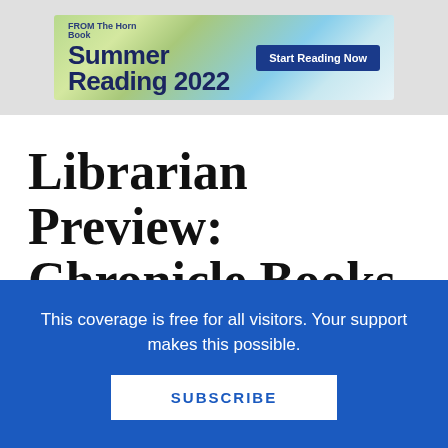[Figure (illustration): Summer Reading 2022 banner ad from The Horn Book with a nature/landscape background (green field and blue sky). Text reads 'Summer Reading 2022' with 'FROM The Horn Book' and a button 'Start Reading Now'.]
Librarian Preview: Chronicle Books (Spring/Summer 2012)
This coverage is free for all visitors. Your support makes this possible.
SUBSCRIBE